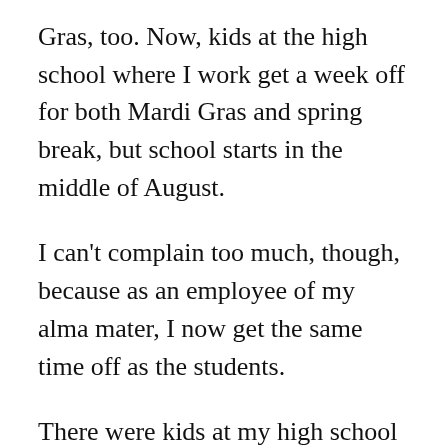Gras, too. Now, kids at the high school where I work get a week off for both Mardi Gras and spring break, but school starts in the middle of August.
I can't complain too much, though, because as an employee of my alma mater, I now get the same time off as the students.
There were kids at my high school in the ’90s who made the most of their abbreviated spring break, going to Destin and getting drunk and rowdy and sunburned. But I was not one of those kids, and I spent my spring breaks playing Trivial Pursuit at Shoney’s, pouring